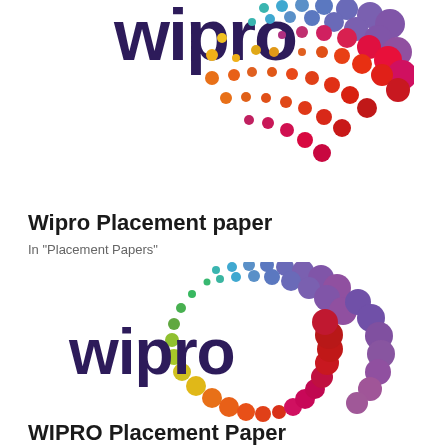[Figure (logo): Wipro logo (partial, top half visible) with colorful spiral dots pattern in teal, blue, purple, magenta, red, orange, yellow colors and dark purple 'wipro' text]
Wipro Placement paper
In "Placement Papers"
[Figure (logo): Wipro logo (full) with colorful spiral dots pattern in teal, blue, purple, magenta, red, orange, yellow, green colors and dark purple 'wipro' text]
WIPRO Placement Paper
In "Placement Papers"